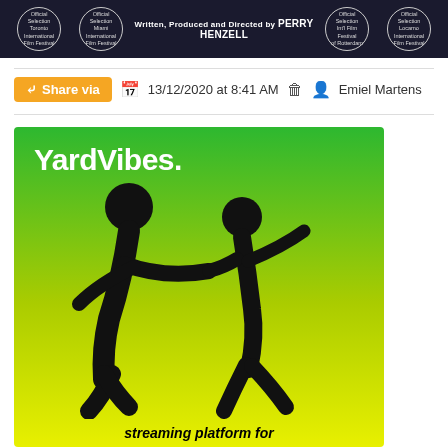[Figure (other): Dark banner with four film festival laurel awards and center text: Written, Produced and Directed by PERRY HENZELL]
Share via   13/12/2020 at 8:41 AM   Emiel Martens
[Figure (illustration): YardVibes. streaming platform for — green gradient background with two black silhouette dancing figures]